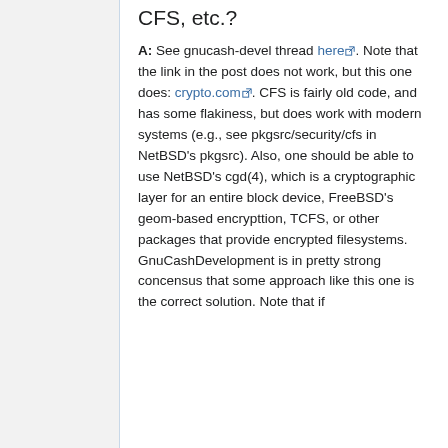CFS, etc.?
A: See gnucash-devel thread here. Note that the link in the post does not work, but this one does: crypto.com. CFS is fairly old code, and has some flakiness, but does work with modern systems (e.g., see pkgsrc/security/cfs in NetBSD's pkgsrc). Also, one should be able to use NetBSD's cgd(4), which is a cryptographic layer for an entire block device, FreeBSD's geom-based encrypttion, TCFS, or other packages that provide encrypted filesystems. GnuCashDevelopment is in pretty strong concensus that some approach like this one is the correct solution. Note that if